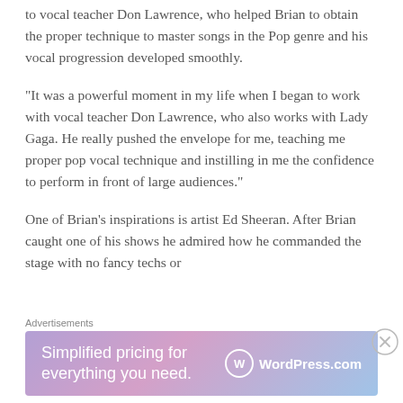to vocal teacher Don Lawrence, who helped Brian to obtain the proper technique to master songs in the Pop genre and his vocal progression developed smoothly.
“It was a powerful moment in my life when I began to work with vocal teacher Don Lawrence, who also works with Lady Gaga. He really pushed the envelope for me, teaching me proper pop vocal technique and instilling in me the confidence to perform in front of large audiences.”
One of Brian’s inspirations is artist Ed Sheeran. After Brian caught one of his shows he admired how he commanded the stage with no fancy techs or
Advertisements
[Figure (other): WordPress.com advertisement banner with purple-pink gradient background. Text reads 'Simplified pricing for everything you need.' with WordPress.com logo on the right.]